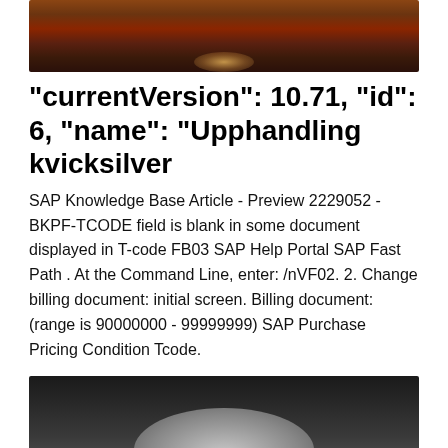[Figure (photo): Dark reddish-brown sky/cloud image at the top of the page]
"currentVersion": 10.71, "id": 6, "name": "Upphandling kvicksilver
SAP Knowledge Base Article - Preview 2229052 - BKPF-TCODE field is blank in some document displayed in T-code FB03 SAP Help Portal SAP Fast Path . At the Command Line, enter: /nVF02. 2. Change billing document: initial screen. Billing document: (range is 90000000 - 99999999) SAP Purchase Pricing Condition Tcode.
[Figure (photo): Dark grey/black image with a light-colored rock or mountain shape at the bottom]